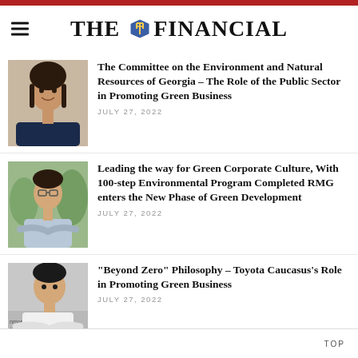THE FINANCIAL
[Figure (photo): Portrait photo of a woman smiling, dark hair, dark top]
The Committee on the Environment and Natural Resources of Georgia – The Role of the Public Sector in Promoting Green Business
JULY 27, 2022
[Figure (photo): Photo of a man standing outdoors with arms crossed, wearing a light blue shirt]
Leading the way for Green Corporate Culture, With 100-step Environmental Program Completed RMG enters the New Phase of Green Development
JULY 27, 2022
[Figure (photo): Photo of a man in a white shirt with arms crossed, Toyota Caucasus branding visible in background]
“Beyond Zero” Philosophy – Toyota Caucasus’s Role in Promoting Green Business
JULY 27, 2022
TOP